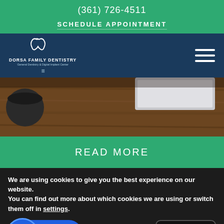(361) 726-4511
SCHEDULE APPOINTMENT
[Figure (logo): Dorsa Family Dentistry logo with tooth icon and dental implant graphic]
[Figure (photo): Overhead view of a wooden desk with a laptop, notebook and pencil]
READ MORE
We are using cookies to give you the best experience on our website.
You can find out more about which cookies we are using or switch them off in settings.
Accept
CHAT